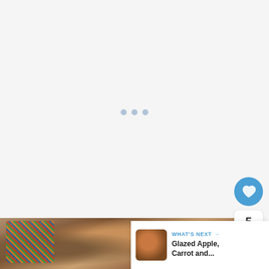[Figure (screenshot): Loading placeholder with three dots on a light gray background]
[Figure (photo): Decorated cookies or food items with colorful patterns visible at the bottom of the page]
5
WHAT'S NEXT → Glazed Apple, Carrot and...